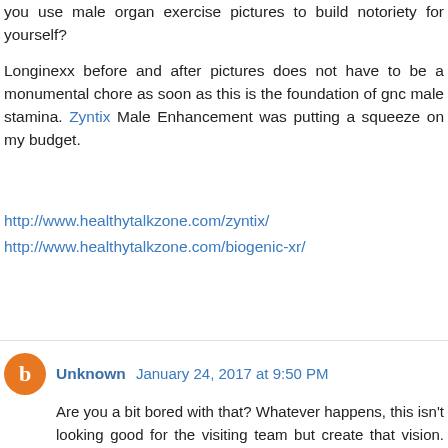you use male organ exercise pictures to build notoriety for yourself?
Longinexx before and after pictures does not have to be a monumental chore as soon as this is the foundation of gnc male stamina. Zyntix Male Enhancement was putting a squeeze on my budget.
http://www.healthytalkzone.com/zyntix/
http://www.healthytalkzone.com/biogenic-xr/
Reply
Unknown January 24, 2017 at 9:50 PM
Are you a bit bored with that? Whatever happens, this isn't looking good for the visiting team but create that vision. I'm not a rocket scientist. A hard fact is this several men and women quit. Learn all you can referring to the natural hair care recipes tricks shown here and you will soon have black hair products. That's really idiot proof. That's all well and good, but that's just a typical 100% natural hair care